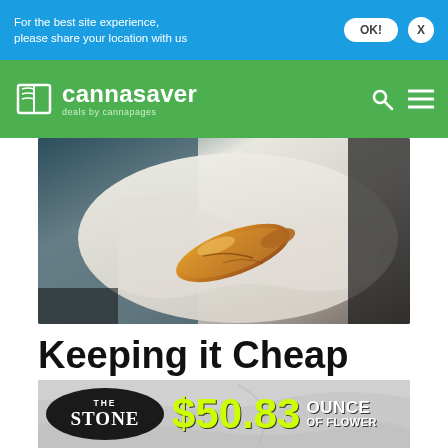For the best site experience, please share your location with us
[Figure (logo): Cannasaver logo — deals by cannapages — on green header bar with search and menu icons]
[Figure (photo): Close-up photo of a golden amber dab/cannabis concentrate piece on white parchment paper, dark background]
Keeping it Cheap with Dabs
[Figure (infographic): The Stone dispensary ad banner: black oval logo with 'THE STONE', price '$50.83' in bright yellow-green, 'OUNCE OF FLOWER' in white on marble-textured background]